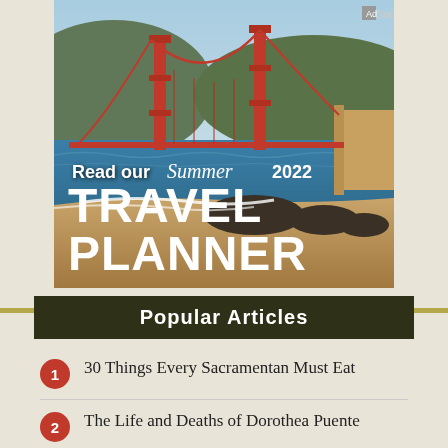[Figure (photo): Photo of the Golden Gate Bridge with bay, hills, and beach in the foreground. Text overlay reads 'Read our Summer 2022 TRAVEL PLANNER'. Sponsored label in top right corner.]
Popular Articles
30 Things Every Sacramentan Must Eat
The Life and Deaths of Dorothea Puente